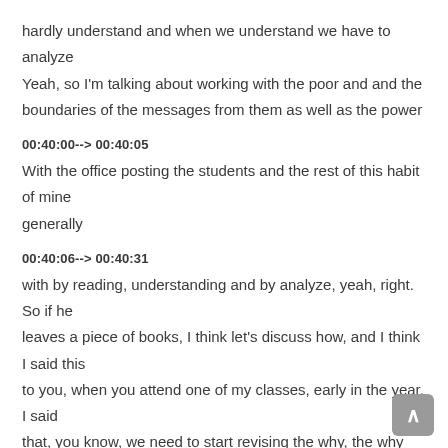hardly understand and when we understand we have to analyze
Yeah, so I'm talking about working with the poor and and the
boundaries of the messages from them as well as the power
00:40:00--> 00:40:05
With the office posting the students and the rest of this habit of mine generally
00:40:06--> 00:40:31
with by reading, understanding and by analyze, yeah, right. So if he leaves a piece of books, I think let's discuss how, and I think I said this to you, when you attend one of my classes, early in the year, I said that, you know, we need to start revising the why, the why and the house, a lot of times we discuss what, you know, what are the three